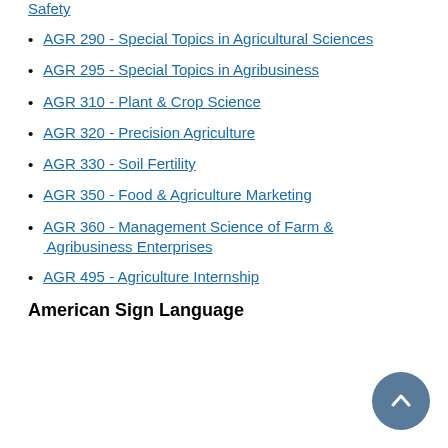Safety
AGR 290 - Special Topics in Agricultural Sciences
AGR 295 - Special Topics in Agribusiness
AGR 310 - Plant & Crop Science
AGR 320 - Precision Agriculture
AGR 330 - Soil Fertility
AGR 350 - Food & Agriculture Marketing
AGR 360 - Management Science of Farm & Agribusiness Enterprises
AGR 495 - Agriculture Internship
American Sign Language